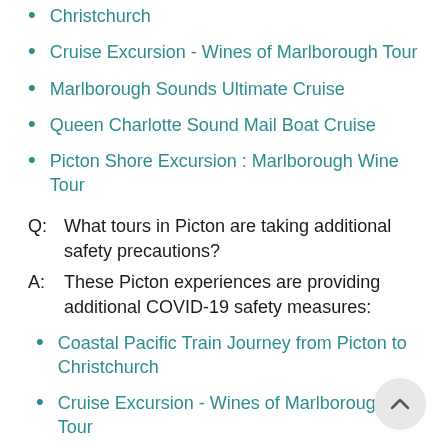Coastal Pacific Train Journey from Picton to Christchurch
Cruise Excursion - Wines of Marlborough Tour
Marlborough Sounds Ultimate Cruise
Queen Charlotte Sound Mail Boat Cruise
Picton Shore Excursion : Marlborough Wine Tour
Q: What tours in Picton are taking additional safety precautions?
A: These Picton experiences are providing additional COVID-19 safety measures:
Coastal Pacific Train Journey from Picton to Christchurch
Cruise Excursion - Wines of Marlborough Tour
Marlborough Sounds Ultimate Cruise
Queen Charlotte Sound Mail Boat Cruise